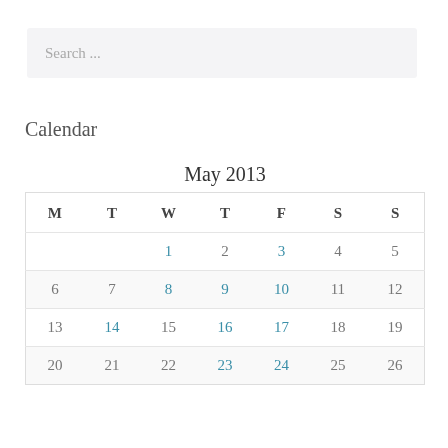Search ...
Calendar
| M | T | W | T | F | S | S |
| --- | --- | --- | --- | --- | --- | --- |
|  |  | 1 | 2 | 3 | 4 | 5 |
| 6 | 7 | 8 | 9 | 10 | 11 | 12 |
| 13 | 14 | 15 | 16 | 17 | 18 | 19 |
| 20 | 21 | 22 | 23 | 24 | 25 | 26 |